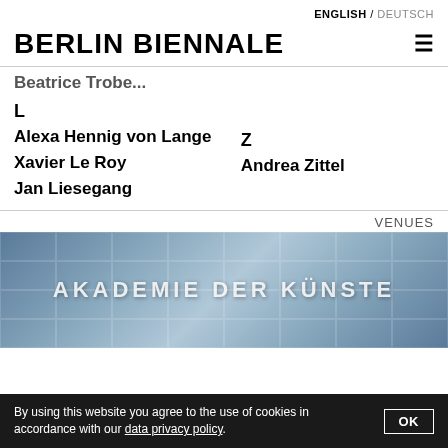ENGLISH / DEUTSCH
BERLIN BIENNALE
Beatrice Trobe...
L
Alexa Hennig von Lange
Xavier Le Roy
Jan Liesegang
Z
Andrea Zittel
VENUES
[Figure (photo): Photo of Akademie der Künste building facade with glass windows and large text visible]
By using this website you agree to the use of cookies in accordance with our data privacy policy.